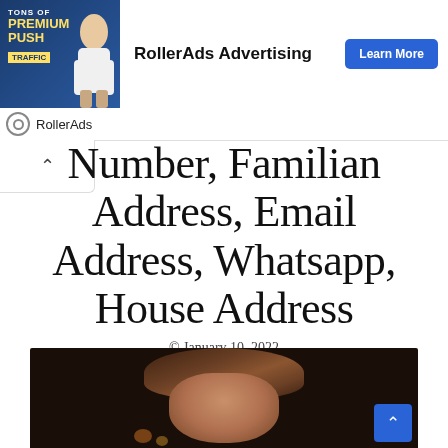[Figure (screenshot): RollerAds advertising banner with 'Tons of Premium Push Traffic' and a Learn More button]
Number, Familian Address, Email Address, Whatsapp, House Address
© January 10, 2022
[Figure (photo): Close-up photo of a person with brown hair against a dark background]